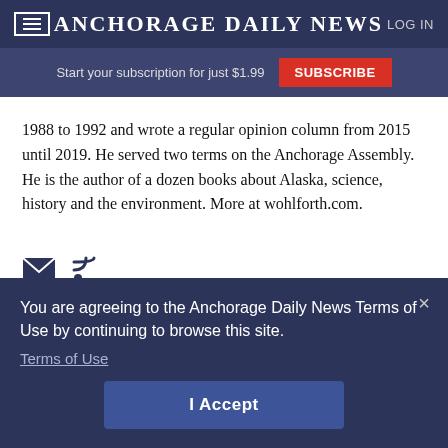Anchorage Daily News  LOG IN
Start your subscription for just $1.99  SUBSCRIBE
1988 to 1992 and wrote a regular opinion column from 2015 until 2019. He served two terms on the Anchorage Assembly. He is the author of a dozen books about Alaska, science, history and the environment. More at wohlforth.com.
[Figure (infographic): Social icons: email envelope and RSS feed icon]
You are agreeing to the Anchorage Daily News Terms of Use by continuing to browse this site.
Terms of Use
I Accept